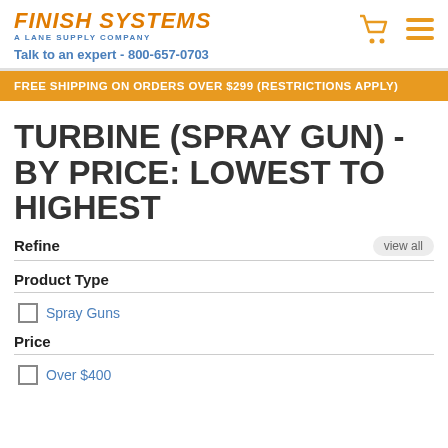FINISH SYSTEMS A LANE SUPPLY COMPANY Talk to an expert - 800-657-0703
FREE SHIPPING ON ORDERS OVER $299 (RESTRICTIONS APPLY)
TURBINE (SPRAY GUN) - BY PRICE: LOWEST TO HIGHEST
Refine
Product Type
Spray Guns
Price
Over $400